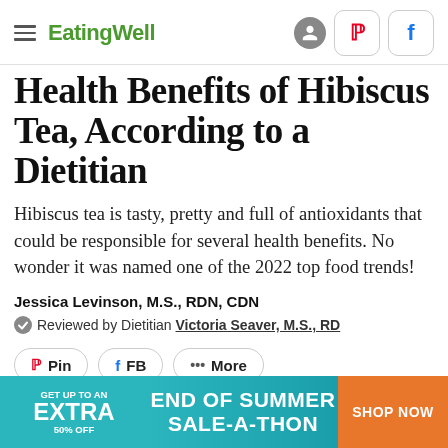EatingWell
Health Benefits of Hibiscus Tea, According to a Dietitian
Hibiscus tea is tasty, pretty and full of antioxidants that could be responsible for several health benefits. No wonder it was named one of the 2022 top food trends!
Jessica Levinson, M.S., RDN, CDN
Reviewed by Dietitian Victoria Seaver, M.S., RD
[Figure (other): Social share buttons: Pin, FB, and More]
[Figure (other): Advertisement banner: GET UP TO AN EXTRA 50% OFF | END OF SUMMER SALE-A-THON | SHOP NOW]